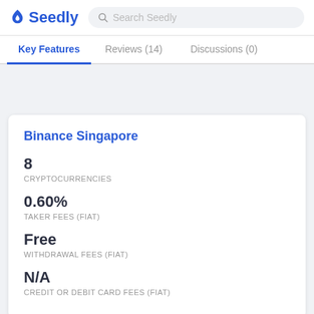Seedly | Search Seedly
Key Features | Reviews (14) | Discussions (0)
Binance Singapore
8
CRYPTOCURRENCIES
0.60%
TAKER FEES (FIAT)
Free
WITHDRAWAL FEES (FIAT)
N/A
CREDIT OR DEBIT CARD FEES (FIAT)